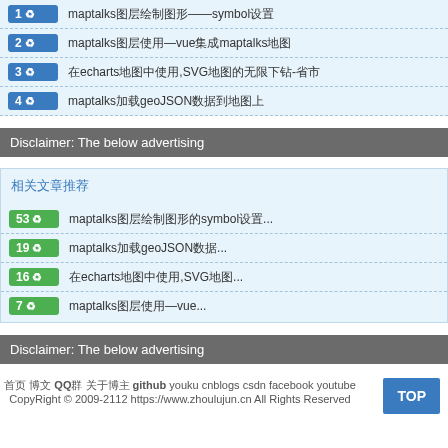1 ♻ maptalks图层绘制图形——symbol设置
2 ♻ maptalks图层使用—vue集成maptalks地图
3 ♻ 在echarts地图中使用,SVG地图的无限下钻-省市
4 ♻ maptalks加载geoJSON数据到地图上
Disclaimer: The below advertising
相关文章推荐
53 ♻ maptalks图层绘制图形的symbol设置...
19 ♻ maptalks加载geoJSON数据...
16 ♻ 在echarts地图中使用,SVG地图...
7 ♻ maptalks图层使用—vue...
Disclaimer: The below advertising
首页 博文 QQ群 关于博主 github youku cnblogs csdn facebook youtube CopyRight © 2009-2112 https://www.zhoulujun.cn All Rights Reserved